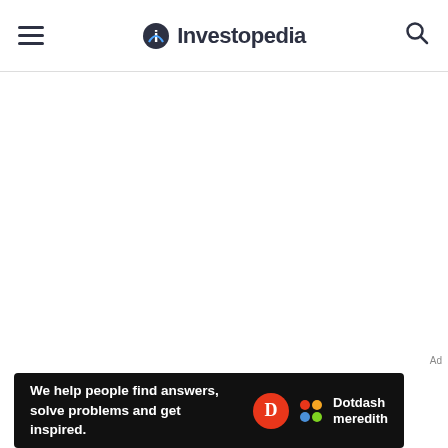Investopedia
[Figure (screenshot): Blank white main content area below the Investopedia header]
Ad
[Figure (infographic): Dotdash Meredith ad banner: 'We help people find answers, solve problems and get inspired.' with D logo and Dotdash meredith colored dots logo on black background]